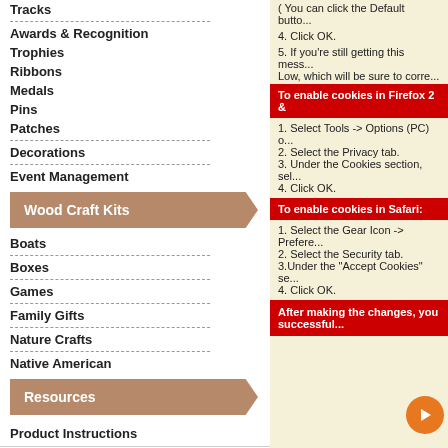Tracks
Awards & Recognition
Trophies
Ribbons
Medals
Pins
Patches
Decorations
Event Management
Wood Craft Kits
Boats
Boxes
Games
Family Gifts
Nature Crafts
Native American
Resources
Product Instructions
How To's
Derby Tips & Topics
( You can click the Default button...
4. Click OK.
5. If you're still getting this mess... Low, which will be sure to corre...
To enable cookies in Firefox 2 &
1. Select Tools -> Options (PC) o...
2. Select the Privacy tab.
3. Under the Cookies section, sel...
4. Click OK.
To enable cookies in Safari:
1. Select the Gear Icon -> Prefere...
2. Select the Security tab.
3.Under the "Accept Cookies" se...
4. Click OK.
After making the changes, you successful...